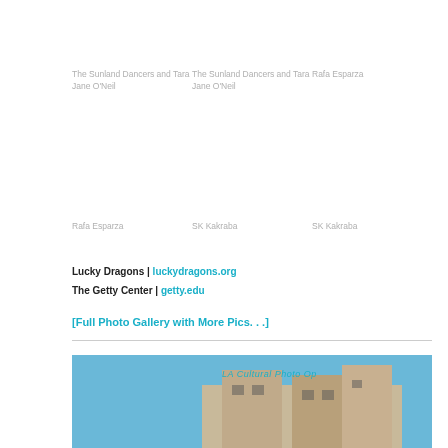The Sunland Dancers and Tara Jane O'Neil
The Sunland Dancers and Tara Jane O'Neil
Rafa Esparza
Rafa Esparza
SK Kakraba
SK Kakraba
Lucky Dragons | luckydragons.org
The Getty Center | getty.edu
[Full Photo Gallery with More Pics. . .]
[Figure (photo): Photo of a building under a blue sky with text overlay reading 'LA Cultural Photo Op']